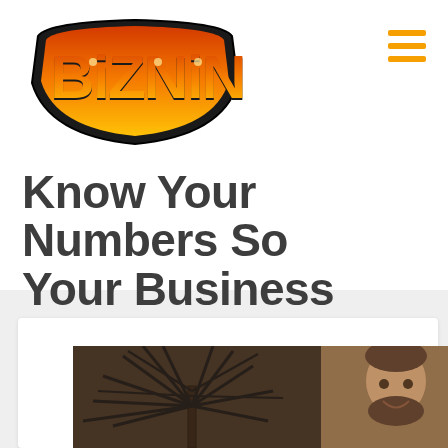[Figure (logo): BizNinja logo — stylized text with orange-to-red gradient on a banner/shield shape with black outline]
Know Your Numbers So Your Business Can Thrive
[Figure (photo): Partially visible photo of a man with a beard smiling, with a large dark spiky plant in the background, inside a white card container]